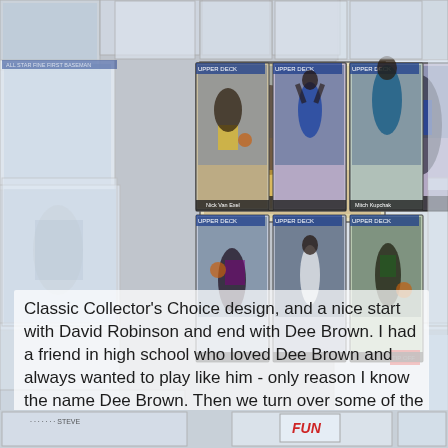[Figure (photo): Collage of sports trading cards (basketball, baseball, hockey) arranged in a grid with 6 prominent NBA Upper Deck basketball cards in the center (rows of 3x2), surrounded by other sports cards as background. Bottom row partially visible. Cards feature players in action shots.]
Classic Collector's Choice design, and a nice start with David Robinson and end with Dee Brown. I had a friend in high school who loved Dee Brown and always wanted to play like him - only reason I know the name Dee Brown. Then we turn over some of the cards...
[Figure (photo): Partial view of trading cards at the bottom of the page including what appears to be a Fun card and other sports cards partially visible.]